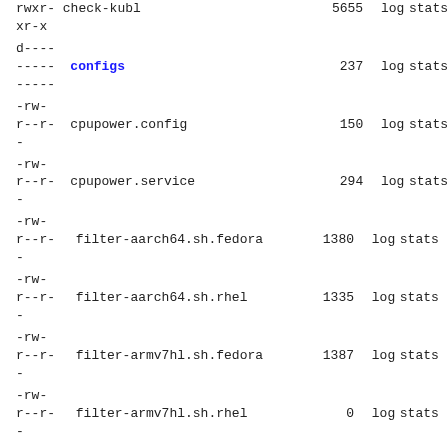rwxr-  check-kubl                              5655  log  stats
xr-x
d----
-----  configs                             237  log  stats
-----
-rw-
r--r-  cpupower.config                    150  log  stats
-
-rw-
r--r-  cpupower.service                   294  log  stats
-
-rw-
r--r-  filter-aarch64.sh.fedora           1380  log  stats
-
-rw-
r--r-  filter-aarch64.sh.rhel             1335  log  stats
-
-rw-
r--r-  filter-armv7hl.sh.fedora           1387  log  stats
-
-rw-
r--r-  filter-armv7hl.sh.rhel                0  log  stats
-
-rw-